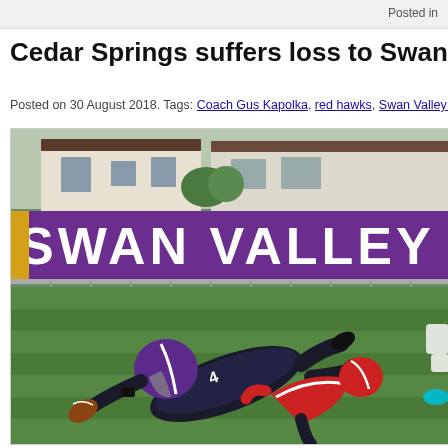Posted in
Cedar Springs suffers loss to Swan Valley
Posted on 30 August 2018. Tags: Coach Gus Kapolka, red hawks, Swan Valley Vikings, v
[Figure (photo): Football game action photo showing a Swan Valley Vikings player in purple uniform being tackled, with a large purple Swan Valley banner visible in the background behind a fence and buildings.]